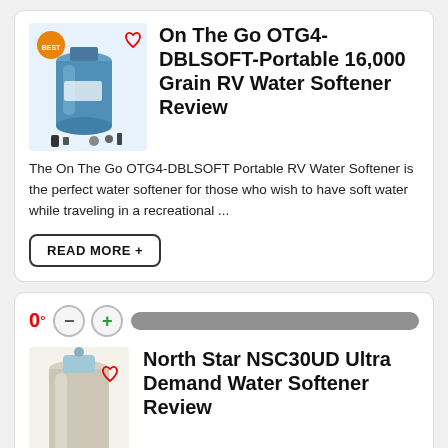[Figure (photo): Product image of On The Go OTG4-DBLSOFT portable RV water softener (blue tank with accessories) with a heart/favorite icon overlay]
On The Go OTG4-DBLSOFT-Portable 16,000 Grain RV Water Softener Review
The On The Go OTG4-DBLSOFT Portable RV Water Softener is the perfect water softener for those who wish to have soft water while traveling in a recreational ...
READ MORE +
0°
[Figure (photo): Product image of North Star NSC30UD Ultra Demand Water Softener (tall beige/cream cylindrical unit) with a heart/favorite icon overlay]
North Star NSC30UD Ultra Demand Water Softener Review
The North Star NSC30UD Ultra Demand Water Softener is a product designed to offer water conditioning solutions with